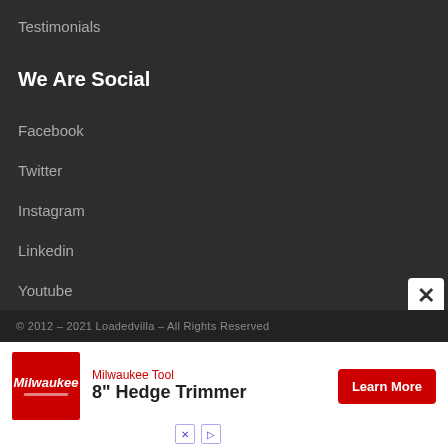Testimonials
We Are Social
Facebook
Twitter
Instagram
Linkedin
Youtube
© 2012 – 2021 Loadedvilla – All Rights Reserved
[Figure (other): Milwaukee Tool advertisement banner showing Milwaukee logo, '8" Hedge Trimmer' product text, and a 'Learn More' red button]